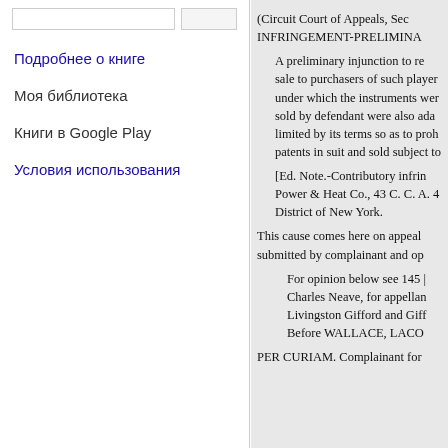Подробнее о книге
Моя библиотека
Книги в Google Play
Условия использования
(Circuit Court of Appeals, Sec INFRINGEMENT-PRELIMINA
A preliminary injunction to re sale to purchasers of such player under which the instruments wer sold by defendant were also ada limited by its terms so as to proh patents in suit and sold subject to
[Ed. Note.-Contributory infrin Power & Heat Co., 43 C. C. A. 4 District of New York.
This cause comes here on appeal submitted by complainant and op
For opinion below see 145 |
Charles Neave, for appellan
Livingston Gifford and Giff
Before WALLACE, LACO
PER CURIAM. Complainant for